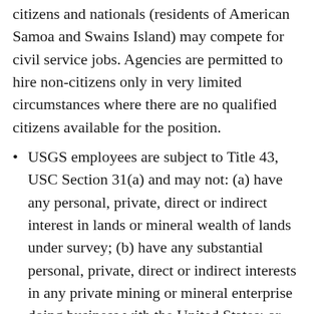citizens and nationals (residents of American Samoa and Swains Island) may compete for civil service jobs. Agencies are permitted to hire non-citizens only in very limited circumstances where there are no qualified citizens available for the position.
USGS employees are subject to Title 43, USC Section 31(a) and may not: (a) have any personal, private, direct or indirect interest in lands or mineral wealth of lands under survey; (b) have any substantial personal, private, direct or indirect interests in any private mining or mineral enterprise doing business with the United States; or (c) execute surveys or examinations for private parties or corporations.
The application contains information subject to the Privacy Act (P.L. 93-579, 5 USC 552a). The